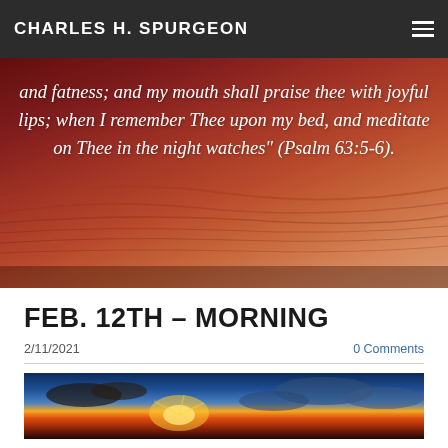CHARLES H. SPURGEON
and fatness; and my mouth shall praise thee with joyful lips; when I remember Thee upon my bed, and meditate on Thee in the night watches" (Psalm 63:5-6).
FEB. 12TH – MORNING
2/11/2021
0 Comments
[Figure (photo): Sunrise over ocean with dramatic clouds, warm orange and blue sky tones]